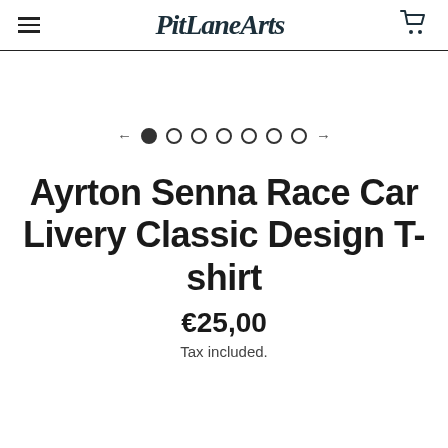PitLaneArts
[Figure (other): Carousel image area (blank/white)]
[Figure (other): Carousel navigation: left arrow, 7 dots (first filled), right arrow]
Ayrton Senna Race Car Livery Classic Design T-shirt
€25,00
Tax included.